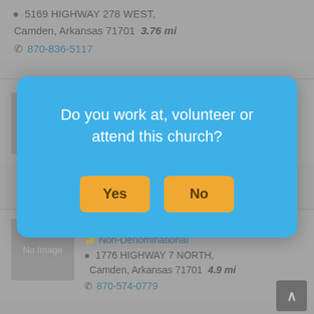5169 HIGHWAY 278 WEST, Camden, Arkansas 71701  3.76 mi
870-836-5117
FAITH BAPTIST CHURCH
Baptist
Camden,
[Figure (screenshot): Modal dialog box with blue background asking 'Do you work at, volunteer or attend this church?' with Yes and No buttons]
Do you work at, volunteer or attend this church?
Non-Denominational
1776 HIGHWAY 7 NORTH, Camden, Arkansas 71701  4.9 mi
870-574-0779